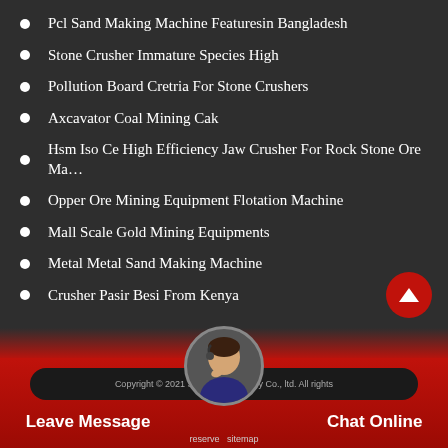Pcl Sand Making Machine Featuresin Bangladesh
Stone Crusher Immature Species High
Pollution Board Cretria For Stone Crushers
Axcavator Coal Mining Cak
Hsm Iso Ce High Efficiency Jaw Crusher For Rock Stone Ore Ma…
Opper Ore Mining Equipment Flotation Machine
Mall Scale Gold Mining Equipments
Metal Metal Sand Making Machine
Crusher Pasir Besi From Kenya
Copyright © 2021 Sumoo Machinery Co., ltd. All rights reserved sitemap | Leave Message | Chat Online